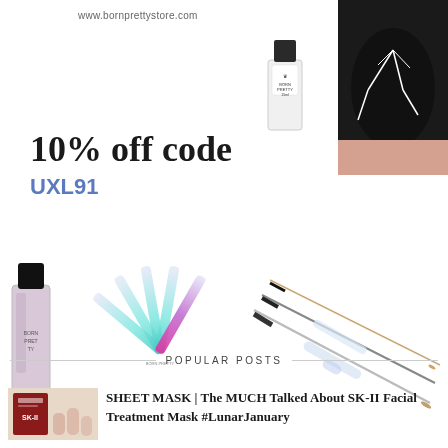www.bornprettystore.com
[Figure (photo): Born Pretty nail products: white nail polish bottle with crown logo and stylized black nail art with white floral design]
10% off code
UXL91
[Figure (photo): Three Born Pretty nail products: pink nail polish bottle, iridescent fan-shaped nail files fading from white to teal to pink/purple, and three thin nail art liner brushes with crystal handles]
POPULAR POSTS
[Figure (photo): Thumbnail image of SK-II Facial Treatment Mask product]
SHEET MASK | The MUCH Talked About SK-II Facial Treatment Mask #LunarJanuary